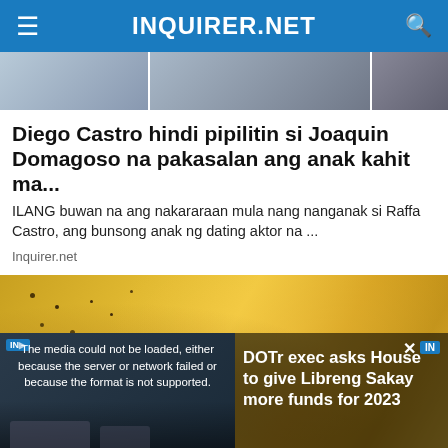INQUIRER.NET
[Figure (photo): Partial photo of people, cut off at top]
Diego Castro hindi pipilitin si Joaquin Domagoso na pakasalan ang anak kahit ma...
ILANG buwan na ang nakararaan mula nang nanganak si Raffa Castro, ang bunsong anak ng dating aktor na ...
Inquirer.net
[Figure (photo): Close-up photo of golden/yellow food item with dark speckles, possibly a sesame-coated snack]
[Figure (screenshot): Video player overlay showing error message: The media could not be loaded, either because the server or network failed or because the format is not supported. With video headline: DOTR EXEC ASKS HOUSE TO GIVE 'LIBRENG SAKAY' MORE FUNDS FOR 2023 and sidebar title: DOTr exec asks House to give Libreng Sakay more funds for 2023]